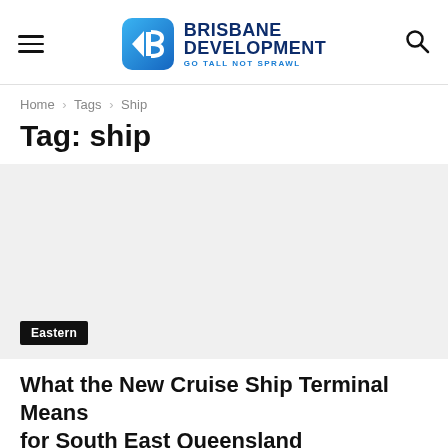Brisbane Development — Go Tall Not Sprawl (navigation header with hamburger menu and search)
Home › Tags › Ship
Tag: ship
[Figure (photo): Article thumbnail image area (image not loaded), with 'Eastern' category tag label overlaid at bottom left]
What the New Cruise Ship Terminal Means for South East Queensland